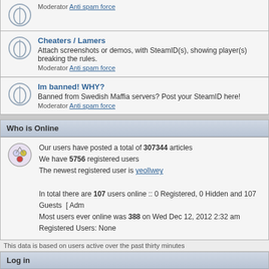Moderator Anti spam force
Cheaters / Lamers
Attach screenshots or demos, with SteamID(s), showing player(s) breaking the rules. Moderator Anti spam force
Im banned! WHY?
Banned from Swedish Maffia servers? Post your SteamID here! Moderator Anti spam force
Who is Online
Our users have posted a total of 307344 articles
We have 5756 registered users
The newest registered user is yeollwey
In total there are 107 users online :: 0 Registered, 0 Hidden and 107 Guests [ Adm...
Most users ever online was 388 on Wed Dec 12, 2012 2:32 am
Registered Users: None
This data is based on users active over the past thirty minutes
Log in
Username:   Password:  Lo
New posts   No new po
Powered by phpBB © 2001, 200... Om Cookies...